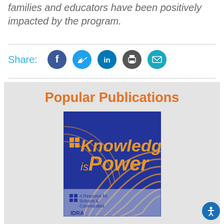families and educators have been positively impacted by the program.
Share:
Popular Publications
[Figure (illustration): Book cover for 'Knowledge is Power: A Resource for Schools & Communities' published by IDRA. Blue background with orange text and concentric arc lines.]